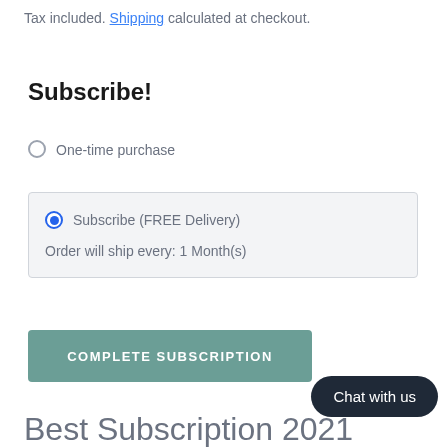Tax included. Shipping calculated at checkout.
Subscribe!
One-time purchase
Subscribe (FREE Delivery)
Order will ship every: 1 Month(s)
COMPLETE SUBSCRIPTION
Chat with us
Best Subscription 2021